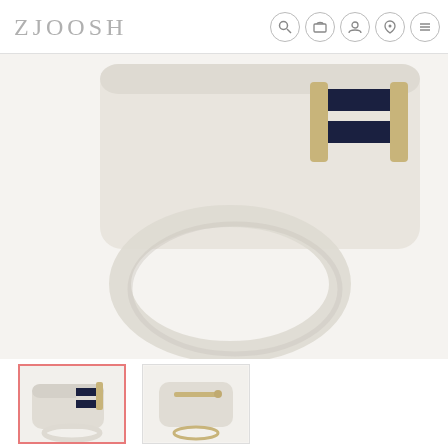ZJOOSH
[Figure (photo): Close-up photo of a cream/ivory leather crossbody bag with navy and white stripe strap detail and gold hardware, on white background. Shows the top portion with strap and zipper.]
[Figure (photo): Thumbnail of cream crossbody bag front view with stripe strap, gold hardware, and wrist strap loop. Active/selected thumbnail with pink border.]
[Figure (photo): Thumbnail of cream crossbody bag back view with gold zipper and wrist strap loop.]